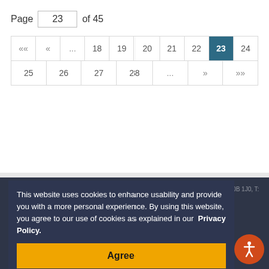Page 23 of 45
[Figure (other): Pagination navigation control showing pages 18-28, with page 23 highlighted in dark blue. Rows: row1: «« « ... 18 19 20 21 22 [23] 24; row2: 25 26 27 28 ... » »»]
© 2019 Township of Muskoka Lakes, 1 Bailey St., P.O. Box 129, Port Carling, ON, P0B 1J0, T: 705-765-3156 F: 705-765-6378
This website uses cookies to enhance usability and provide you with a more personal experience. By using this website, you agree to our use of cookies as explained in our Privacy Policy.
Agree
[Figure (illustration): Orange circular accessibility button with person icon (universal access symbol) in bottom right corner]